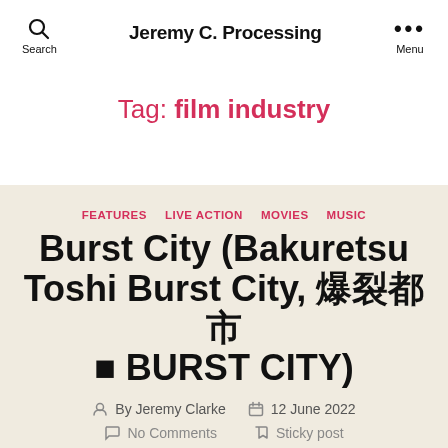Jeremy C. Processing
Tag: film industry
FEATURES  LIVE ACTION  MOVIES  MUSIC
Burst City (Bakuretsu Toshi Burst City, 爆裂都市 BURST CITY)
By Jeremy Clarke  12 June 2022  No Comments  Sticky post